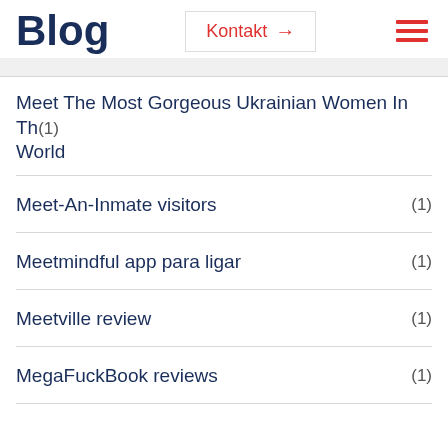Blog
Meet The Most Gorgeous Ukrainian Women In The World (1)
Meet-An-Inmate visitors (1)
Meetmindful app para ligar (1)
Meetville review (1)
MegaFuckBook reviews (1)